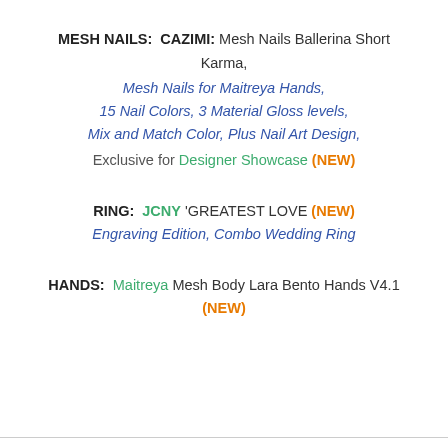MESH NAILS: CAZIMI: Mesh Nails Ballerina Short Karma, Mesh Nails for Maitreya Hands, 15 Nail Colors, 3 Material Gloss levels, Mix and Match Color, Plus Nail Art Design, Exclusive for Designer Showcase (NEW)
RING: JCNY 'GREATEST LOVE (NEW) Engraving Edition, Combo Wedding Ring
HANDS: Maitreya Mesh Body Lara Bento Hands V4.1 (NEW)